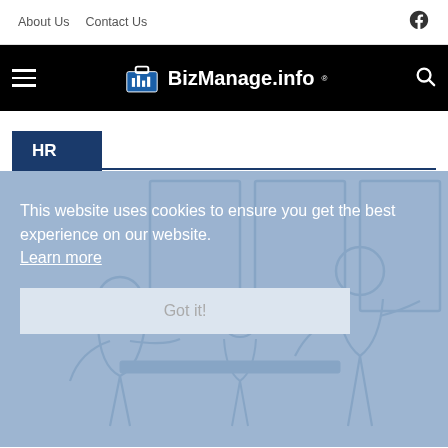About Us   Contact Us
[Figure (logo): BizManage.info logo with briefcase icon on black navigation bar]
HR
[Figure (illustration): Line illustration of people in a business meeting/interview setting with blue tones]
This website uses cookies to ensure you get the best experience on our website. Learn more
Got it!